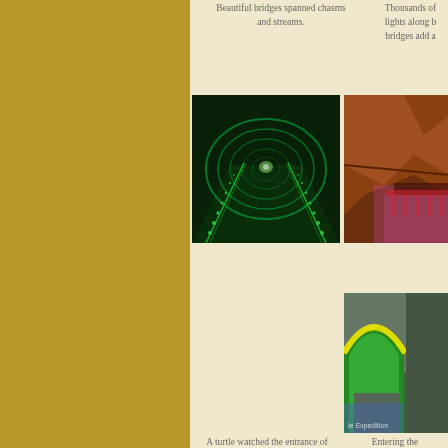Beautiful bridges spanned chasms and streams.
Thousands of lights along bridges add a
[Figure (photo): A long illuminated tunnel walkway inside a cave with green LED lights lining the sides, creating a glowing corridor perspective.]
[Figure (photo): Cave interior with orange/brown rock formations and pink/purple lighting, partially visible on the right side.]
[Figure (photo): A person in a blue jacket and pink hat posing with a large stone turtle sculpture at the entrance of a cave, with rock wall behind.]
[Figure (photo): Entrance archway with yellow and green circular tunnel framing a path, partially visible on the right side.]
A turtle watched the entrance of the cave, always a sign of good luck in Korea.
Entering the immediately co